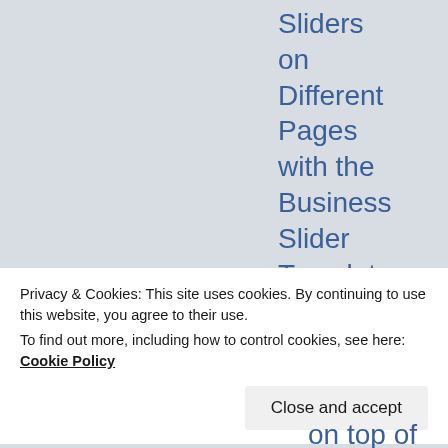Sliders on Different Pages with the Business Slider Template. As you can imagine, there are az
Privacy & Cookies: This site uses cookies. By continuing to use this website, you agree to their use.
To find out more, including how to control cookies, see here: Cookie Policy
Close and accept
on top of